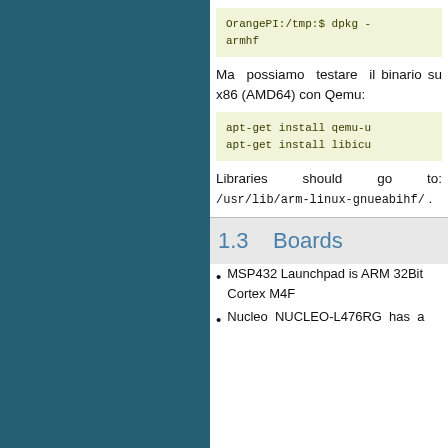OrangePI:/tmp:$ dpkg -
armhf
Ma possiamo testare il binario su x86 (AMD64) con Qemu:
apt-get install qemu-u
apt-get install libicu
Libraries should go to: /usr/lib/arm-linux-gnueabihf/ .
1.3   Boards
MSP432 Launchpad is ARM 32Bit Cortex M4F
Nucleo NUCLEO-L476RG has a